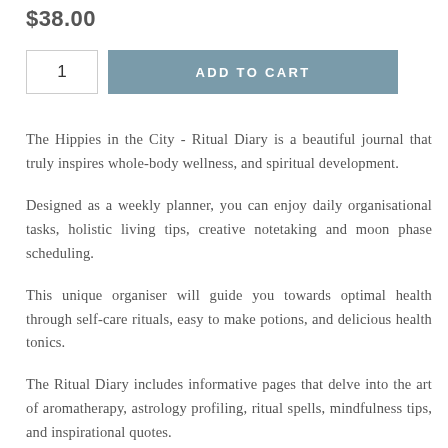$38.00
1  ADD TO CART
The Hippies in the City - Ritual Diary is a beautiful journal that truly inspires whole-body wellness, and spiritual development.
Designed as a weekly planner, you can enjoy daily organisational tasks, holistic living tips, creative notetaking and moon phase scheduling.
This unique organiser will guide you towards optimal health through self-care rituals, easy to make potions, and delicious health tonics.
The Ritual Diary includes informative pages that delve into the art of aromatherapy, astrology profiling, ritual spells, mindfulness tips, and inspirational quotes.